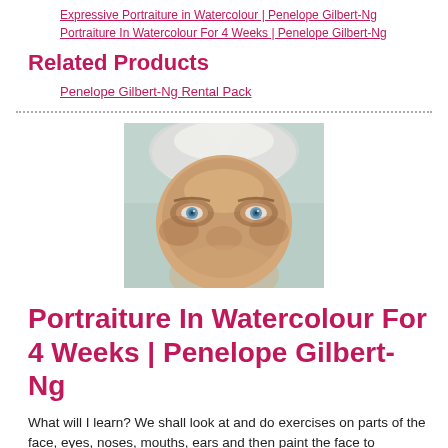Expressive Portraiture in Watercolour | Penelope Gilbert-Ng
Portraiture In Watercolour For 4 Weeks | Penelope Gilbert-Ng
Related Products
Penelope Gilbert-Ng Rental Pack
[Figure (photo): Watercolour portrait painting of an elderly person with white/silver hair and striking blue eyes, painted in loose expressive style showing mainly the eye area and upper face]
Portraiture In Watercolour For 4 Weeks | Penelope Gilbert-Ng
What will I learn? We shall look at and do exercises on parts of the face, eyes, noses, mouths, ears and then paint the face to